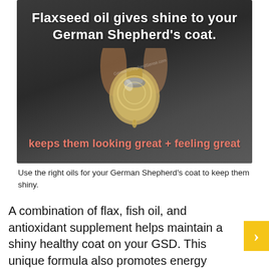[Figure (photo): Dark background photo of a hand holding a glass bottle of flaxseed oil with text overlay. Top text reads 'Flaxseed oil gives shine to your German Shepherd's coat.' Bottom text in salmon/pink reads 'keeps them looking great + feeling great']
Use the right oils for your German Shepherd's coat to keep them shiny.
A combination of flax, fish oil, and antioxidant supplement helps maintain a shiny healthy coat on your GSD. This unique formula also promotes energy levels in your puppy or active dog while helping prevent hot spots and decreasing